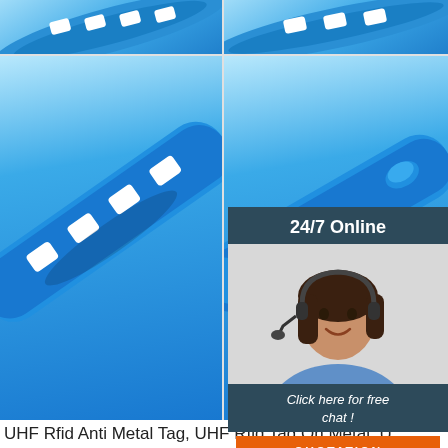[Figure (photo): Blue RFID wristband/anti-metal tag product images in a 2x2 grid layout. Top row shows partial cropped views of blue silicone bands. Bottom row shows close-up diagonal views of blue silicone RFID wristbands with holes/slots.]
[Figure (photo): 24/7 Online customer service widget showing a female agent with headset, dark blue background, with 'Click here for free chat!' text and orange QUOTATION button.]
UHF Rfid Anti Metal Tag, UHF Rfid Tag On Metal, U
UHF rfid anti metal tag, UHF rfid tag on metal, UHF lower price for OME,D.O RFID TAG company is the manufacturer and supplier of UHF rfid anti metal tag metal, UHF metal rfid tag of lower price,we produce as UHF rfid anti metal tag, UHF rfid tag on metal, UH of lower price all over the world.
[Figure (other): Orange 'Get Price' button]
[Figure (logo): Orange TOP arrow/logo icon in bottom right]